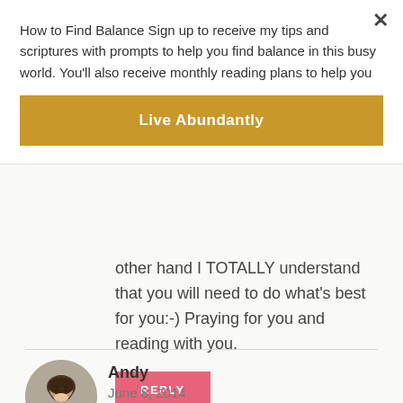How to Find Balance Sign up to receive my tips and scriptures with prompts to help you find balance in this busy world. You'll also receive monthly reading plans to help you
Live Abundantly
other hand I TOTALLY understand that you will need to do what's best for you:-) Praying for you and reading with you.
REPLY
Andy
June 8, 2014
[Figure (photo): Circular avatar photo of a woman with dark hair and glasses wearing a denim jacket]